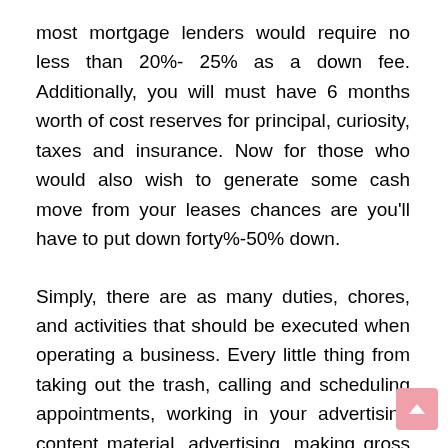most mortgage lenders would require no less than 20%- 25% as a down fee. Additionally, you will must have 6 months worth of cost reserves for principal, curiosity, taxes and insurance. Now for those who would also wish to generate some cash move from your leases chances are you'll have to put down forty%-50% down.
Simply, there are as many duties, chores, and activities that should be executed when operating a business. Every little thing from taking out the trash, calling and scheduling appointments, working in your advertising content material, advertising, making gross sales calls, networking, paying payments, ordering provides, filing, managing your team, handling customer service, operations, etc. We